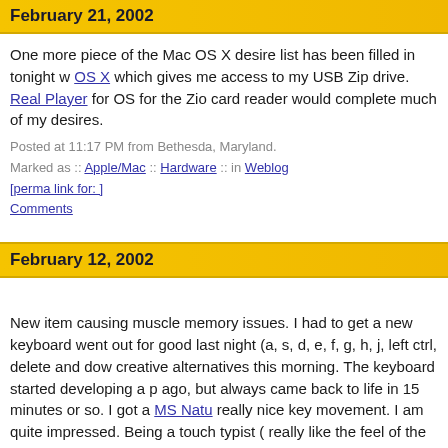February 21, 2002
One more piece of the Mac OS X desire list has been filled in tonight w... OS X which gives me access to my USB Zip drive. Real Player for OS... for the Zio card reader would complete much of my desires.
Posted at 11:17 PM from Bethesda, Maryland.
Marked as :: Apple/Mac :: Hardware :: in Weblog
[perma link for: ]
Comments
February 12, 2002
New item causing muscle memory issues. I had to get a new keyboard... went out for good last night (a, s, d, e, f, g, h, j, left ctrl, delete and dow... creative alternatives this morning. The keyboard started developing a p... ago, but always came back to life in 15 minutes or so. I got a MS Natu... really nice key movement. I am quite impressed. Being a touch typist (... really like the feel of the humped center, as it really eases typing. I am... arrow layout, but I will learn. I did give up a volume knob and a mute b... buttons I did not use), but oh well.